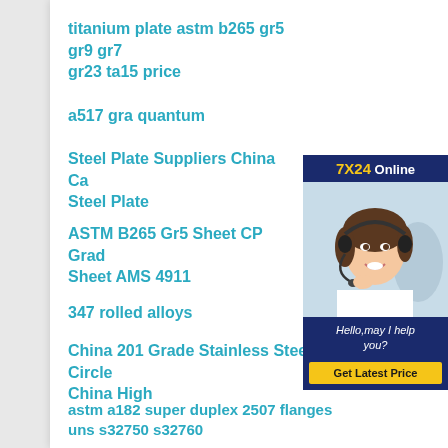titanium plate astm b265 gr5 gr9 gr7 gr23 ta15 price
a517 gra quantum
Steel Plate Suppliers China Can Steel Plate
ASTM B265 Gr5 Sheet CP Grade Sheet AMS 4911
347 rolled alloys
China 201 Grade Stainless Steel Circle China High
astm a182 super duplex 2507 flanges uns s32750 s32760
a105 a106 gr.b seamless carbon steel
[Figure (illustration): Online customer service representative advertisement with '7X24 Online' header, photo of a smiling woman with headset, text 'Hello, may I help you?' and a 'Get Latest Price' button]